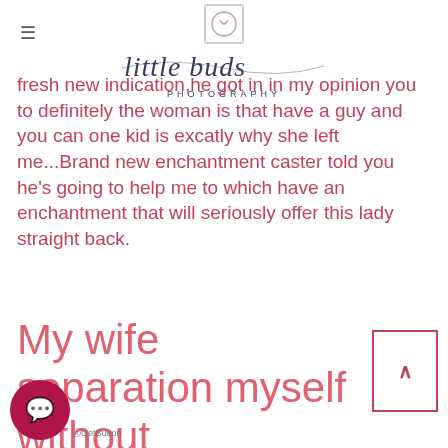little buds PHOTOGRAPHY
fresh new indication,he got in in my opinion you to definitely the woman is that have a guy and you can one kid is excatly why she left me...Brand new enchantment caster told you he's going to help me to which have an enchantment that will seriously offer this lady straight back.
My wife separation myself without